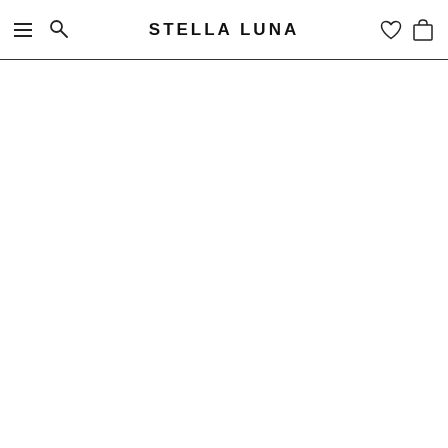STELLA LUNA
[Figure (screenshot): Empty white page body below the navigation header]